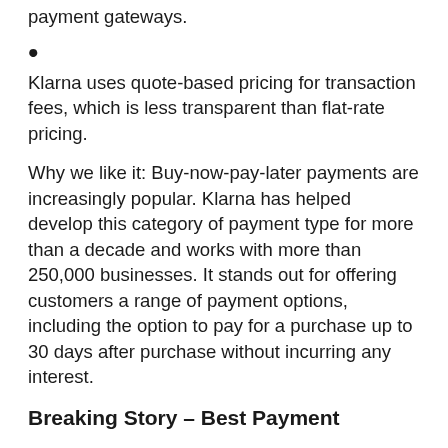payment gateways.
Klarna uses quote-based pricing for transaction fees, which is less transparent than flat-rate pricing.
Why we like it: Buy-now-pay-later payments are increasingly popular. Klarna has helped develop this category of payment type for more than a decade and works with more than 250,000 businesses. It stands out for offering customers a range of payment options, including the option to pay for a purchase up to 30 days after purchase without incurring any interest.
Breaking Story – Best Payment